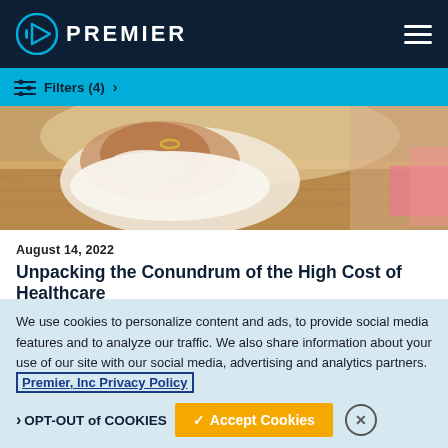PREMIER
Filters (4)  >
[Figure (photo): Close-up photo of a person's hand holding a tissue or paper, wearing a ring, with a wooden desk surface visible in the background. Another person in the background appears to be working.]
August 14, 2022
Unpacking the Conundrum of the High Cost of Healthcare
Applied Sciences | Data & Analytics | Premier in the News
We use cookies to personalize content and ads, to provide social media features and to analyze our traffic. We also share information about your use of our site with our social media, advertising and analytics partners. Premier, Inc Privacy Policy
❯ OPT-OUT of COOKIES
✓ Accept Cookies